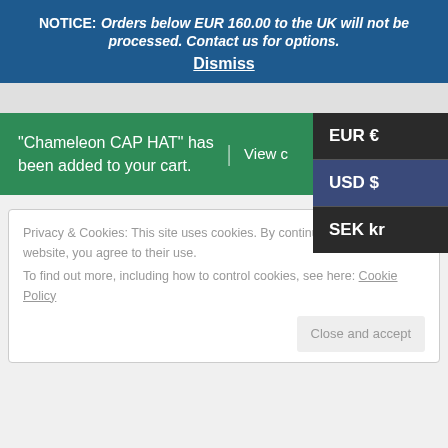NOTICE: Orders below EUR 160.00 to the UK will not be processed. Contact us for options. Dismiss
“Chameleon CAP HAT” has been added to your cart. | View cart
EUR €
USD $
SEK kr
Privacy & Cookies: This site uses cookies. By continuing to use this website, you agree to their use.
To find out more, including how to control cookies, see here: Cookie Policy
Close and accept